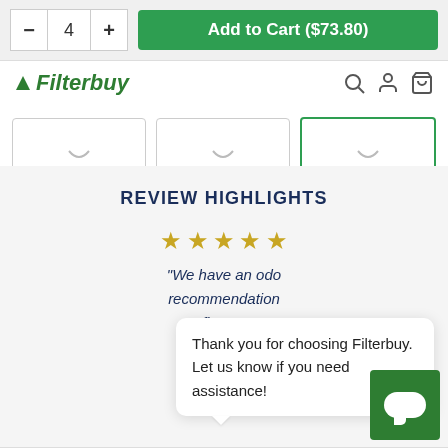[Figure (screenshot): Quantity selector showing minus button, number 4, plus button, and green Add to Cart ($73.80) button]
[Figure (logo): Filterbuy logo in green italic bold text with navigation icons]
[Figure (other): Three filter/category tab selectors, third one highlighted with green border]
REVIEW HIGHLIGHTS
[Figure (other): Five gold stars rating]
"We have an odo... recommendation ... fits p..."
Peter S.
Thank you for choosing Filterbuy. Let us know if you need assistance!